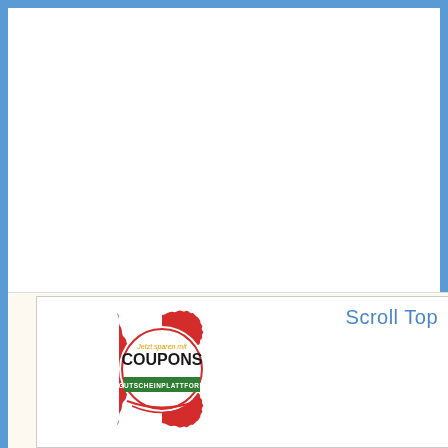Scroll Top
[Figure (logo): Coupons Gutscheinplattform badge logo - red scalloped circle badge with text 'Jetzt sparen mit' in yellow, 'COUPONS' in bold black, and green banner with white text 'GUTSCHEINPLATTFORM']